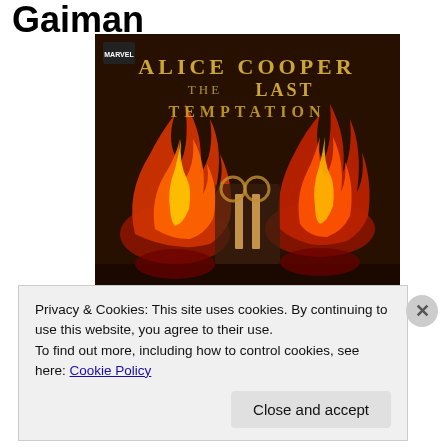Gaiman
[Figure (photo): Album cover for Alice Cooper The Last Temptation Book II, featuring dark imagery with flames and fire on a black background with gothic lettering.]
Privacy & Cookies: This site uses cookies. By continuing to use this website, you agree to their use.
To find out more, including how to control cookies, see here: Cookie Policy
Close and accept